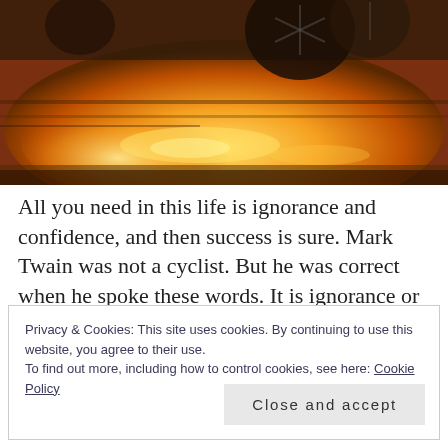[Figure (photo): Close-up photo of a bicycle in motion against a warm orange/golden light background, showing wheels and mechanical parts blurred with motion]
All you need in this life is ignorance and confidence, and then success is sure. Mark Twain was not a cyclist. But he was correct when he spoke these words. It is ignorance or in fact it’s emptiness that allows room for confidence to grow. Don’t over think it, just get on with it. An attribute that allows us to achieve many things. Unfortunately, it is
Privacy & Cookies: This site uses cookies. By continuing to use this website, you agree to their use.
To find out more, including how to control cookies, see here: Cookie Policy
Close and accept